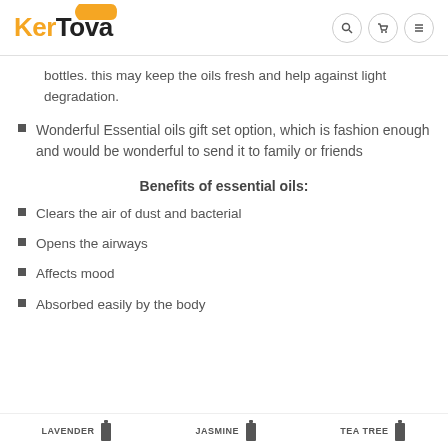KerTova
bottles. this may keep the oils fresh and help against light degradation.
Wonderful Essential oils gift set option, which is fashion enough and would be wonderful to send it to family or friends
Benefits of essential oils:
Clears the air of dust and bacterial
Opens the airways
Affects mood
Absorbed easily by the body
[Figure (other): Product labels at bottom: LAVENDER, JASMINE, TEA TREE with bottle icons]